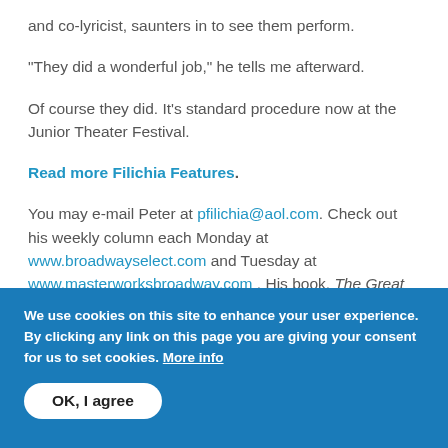and co-lyricist, saunters in to see them perform.
"They did a wonderful job," he tells me afterward.
Of course they did. It's standard procedure now at the Junior Theater Festival.
Read more Filichia Features.
You may e-mail Peter at pfilichia@aol.com. Check out his weekly column each Monday at www.broadwayselect.com and Tuesday at www.masterworksbroadway.com . His book, The Great Parade: Broadway's Astonishing, Never-
We use cookies on this site to enhance your user experience. By clicking any link on this page you are giving your consent for us to set cookies. More info
OK, I agree